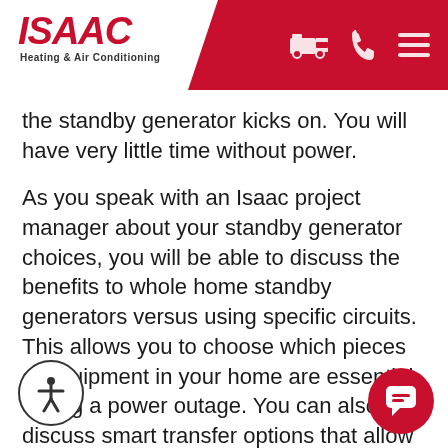[Figure (logo): ISAAC Heating & Air Conditioning logo with red italic text on white background, and red diagonal banner with truck, phone, and menu icons]
the standby generator kicks on. You will have very little time without power.
As you speak with an Isaac project manager about your standby generator choices, you will be able to discuss the benefits to whole home standby generators versus using specific circuits. This allows you to choose which pieces of equipment in your home are essential during a power outage. You can also discuss smart transfer options that allow you to also use non-essential items during an extended power outage at your home.